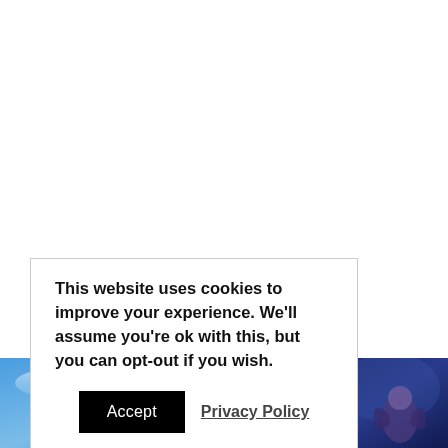This website uses cookies to improve your experience. We'll assume you're ok with this, but you can opt-out if you wish.
Accept
Privacy Policy
[Figure (illustration): Fantasy/animated characters illustration visible at the bottom of the page - two overlapping image strips showing figures against blue sky background on the left and dark blue background on the right]